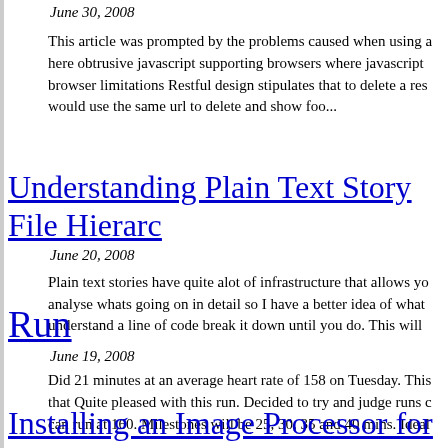June 30, 2008
This article was prompted by the problems caused when using a here obtrusive javascript supporting browsers where javascript browser limitations Restful design stipulates that to delete a res would use the same url to delete and show foo...
Understanding Plain Text Story File Hierarc
June 20, 2008
Plain text stories have quite alot of infrastructure that allows yo analyse whats going on in detail so I have a better idea of what understand a line of code break it down until you do. This will
Run
June 19, 2008
Did 21 minutes at an average heart rate of 158 on Tuesday. This that Quite pleased with this run. Decided to try and judge runs c can run at 160. Milestones will be 25, 30, 35 and 40 mins. Ideal
Installing an Image Processor for attachme
June 04, 2008